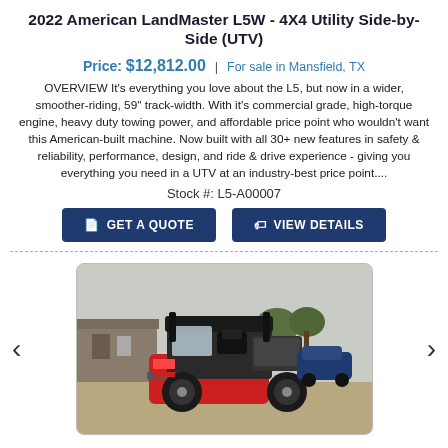2022 American LandMaster L5W - 4X4 Utility Side-by-Side (UTV)
Price: $12,812.00 | For sale in Mansfield, TX
OVERVIEW It's everything you love about the L5, but now in a wider, smoother-riding, 59" track-width. With it's commercial grade, high-torque engine, heavy duty towing power, and affordable price point who wouldn't want this American-built machine. Now built with all 30+ new features in safety & reliability, performance, design, and ride & drive experience - giving you everything you need in a UTV at an industry-best price point....
Stock #: L5-A00007
GET A QUOTE
VIEW DETAILS
[Figure (photo): Red and black 2022 American LandMaster L5W 4X4 Utility Side-by-Side UTV parked on dirt/gravel with a building and trees in the background]